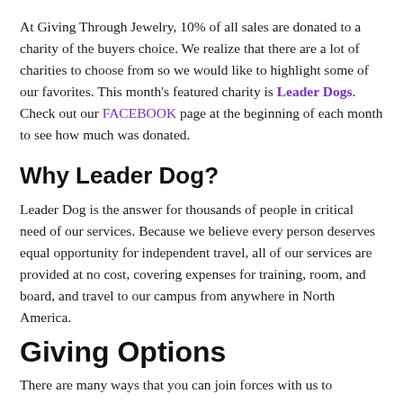At Giving Through Jewelry, 10% of all sales are donated to a charity of the buyers choice. We realize that there are a lot of charities to choose from so we would like to highlight some of our favorites. This month's featured charity is Leader Dogs. Check out our FACEBOOK page at the beginning of each month to see how much was donated.
Why Leader Dog?
Leader Dog is the answer for thousands of people in critical need of our services. Because we believe every person deserves equal opportunity for independent travel, all of our services are provided at no cost, covering expenses for training, room, and board, and travel to our campus from anywhere in North America.
Giving Options
There are many ways that you can join forces with us to